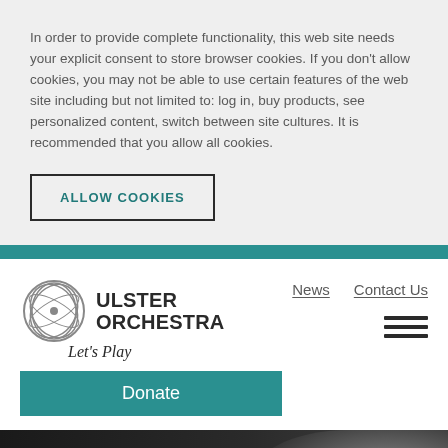In order to provide complete functionality, this web site needs your explicit consent to store browser cookies. If you don't allow cookies, you may not be able to use certain features of the web site including but not limited to: log in, buy products, see personalized content, switch between site cultures. It is recommended that you allow all cookies.
ALLOW COOKIES
[Figure (logo): Ulster Orchestra logo with circular emblem and text 'ULSTER ORCHESTRA Let's Play']
Donate
News   Contact Us
[Figure (photo): Dark greyscale partial photo of a person's head/hair at the bottom of the page]